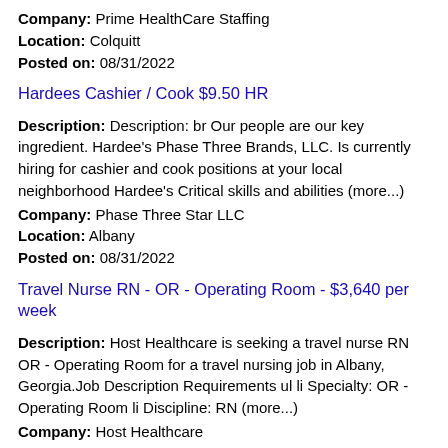Company: Prime HealthCare Staffing
Location: Colquitt
Posted on: 08/31/2022
Hardees Cashier / Cook $9.50 HR
Description: Description: br Our people are our key ingredient. Hardee's Phase Three Brands, LLC. Is currently hiring for cashier and cook positions at your local neighborhood Hardee's Critical skills and abilities (more...)
Company: Phase Three Star LLC
Location: Albany
Posted on: 08/31/2022
Travel Nurse RN - OR - Operating Room - $3,640 per week
Description: Host Healthcare is seeking a travel nurse RN OR - Operating Room for a travel nursing job in Albany, Georgia.Job Description Requirements ul li Specialty: OR - Operating Room li Discipline: RN (more...)
Company: Host Healthcare
Location: Albany
Posted on: 08/31/2022
Salary in Tallahassee, Florida Area | More details for Tallahassee, Florida Jobs |Salary